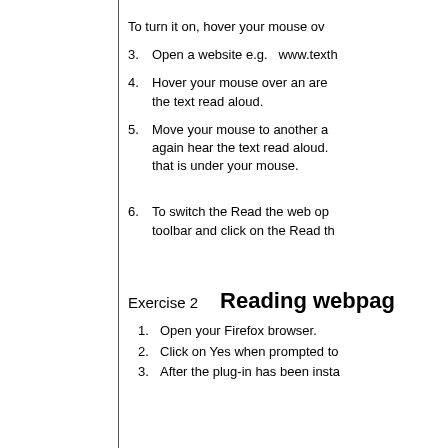To turn it on, hover your mouse ov
3.  Open a website e.g.  www.texth
4.  Hover your mouse over an are the text read aloud.
5.  Move your mouse to another a again hear the text read aloud. that is under your mouse.
6.  To switch the Read the web op toolbar and click on the Read th
Exercise 2    Reading webpag
1.  Open your Firefox browser.
2.  Click on Yes when prompted to
3.  After the plug-in has been insta